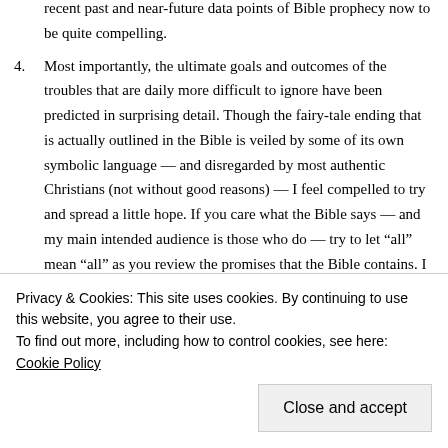recent past and near-future data points of Bible prophecy now to be quite compelling.
4. Most importantly, the ultimate goals and outcomes of the troubles that are daily more difficult to ignore have been predicted in surprising detail. Though the fairy-tale ending that is actually outlined in the Bible is veiled by some of its own symbolic language — and disregarded by most authentic Christians (not without good reasons) — I feel compelled to try and spread a little hope. If you care what the Bible says — and my main intended audience is those who do — try to let “all” mean “all” as you review the promises that the Bible contains. I find it really delightful to be able to
Privacy & Cookies: This site uses cookies. By continuing to use this website, you agree to their use.
To find out more, including how to control cookies, see here: Cookie Policy